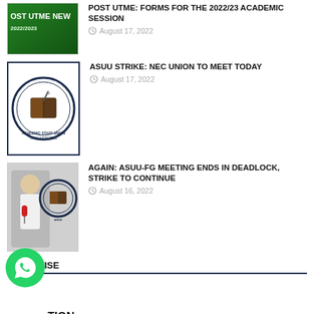[Figure (photo): POST UTME NEWS thumbnail with green background]
POST UTME: FORMS FOR THE 2022/23 ACADEMIC SESSION
August 17, 2022
[Figure (logo): ASUU Academic Staff Union of Universities circular logo with book and pen]
ASUU STRIKE: NEC UNION TO MEET TODAY
August 17, 2022
[Figure (photo): Person holding microphone with ASUU logo overlay]
AGAIN: ASUU-FG MEETING ENDS IN DEADLOCK, STRIKE TO CONTINUE
August 16, 2022
ADVERTISE
TION
[Figure (photo): WhatsApp floating button icon]
[Figure (photo): Bottom image strip partially visible]